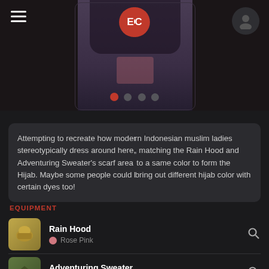[Figure (screenshot): Top portion of a mobile app UI showing an anime character with dark hair, a hamburger menu icon top-left, a red EC badge center top, a user avatar icon top-right, and carousel navigation dots below the image.]
Attempting to recreate how modern Indonesian muslim ladies stereotypically dress around here, matching the Rain Hood and Adventuring Sweater's scarf area to a same color to form the Hijab. Maybe some people could bring out different hijab color with certain dyes too!
EQUIPMENT
Rain Hood — Rose Pink
Adventuring Sweater — Undyed
Dirndl's Wrist Torque — Undyed